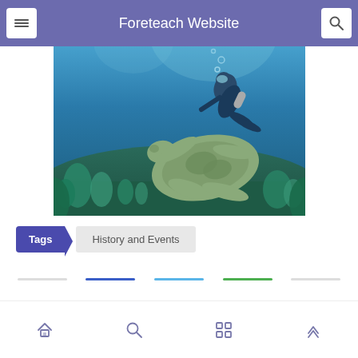Foreteach Website
[Figure (photo): Underwater scuba diver swimming alongside a large sea turtle over a coral reef, blue ocean water background]
Tags  History and Events
[Figure (screenshot): Mobile app bottom navigation bar with home, search, grid, and up-arrow icons]